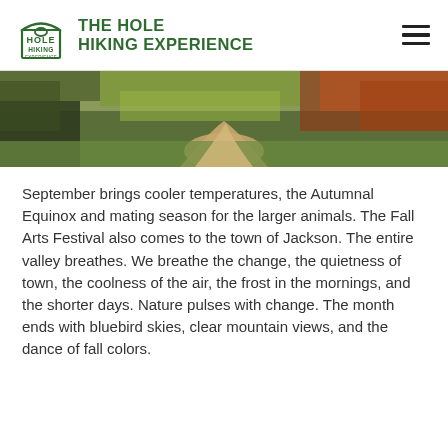THE HOLE HIKING EXPERIENCE
[Figure (photo): Aerial view of a hiking trail winding through autumnal shrubs and vegetation, showing fall colors of red, orange, yellow, and green ground cover.]
September brings cooler temperatures, the Autumnal Equinox and mating season for the larger animals. The Fall Arts Festival also comes to the town of Jackson. The entire valley breathes. We breathe the change, the quietness of town, the coolness of the air, the frost in the mornings, and the shorter days. Nature pulses with change. The month ends with bluebird skies, clear mountain views, and the dance of fall colors.